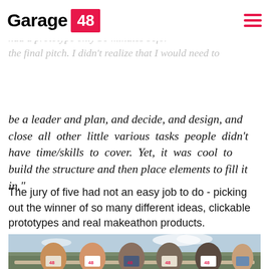Garage 48
balanced team to make it happen. At first, it looked like we can finish up early, but in fact, we had a prototype only 30 minutes before the final pitch. I didn't realize that I would need to
be a leader and plan, and decide, and design, and close all other little various tasks people didn't have time/skills to cover. Yet, it was cool to build the structure and then place elements to fill it in."
The jury of five had not an easy job to do - picking out the winner of so many different ideas, clickable prototypes and real makeathon products.
[Figure (photo): Group photo of five people sitting on a bench outdoors wearing Garage 48 t-shirts, with a scenic city/landscape view in the background under a partly cloudy sky.]